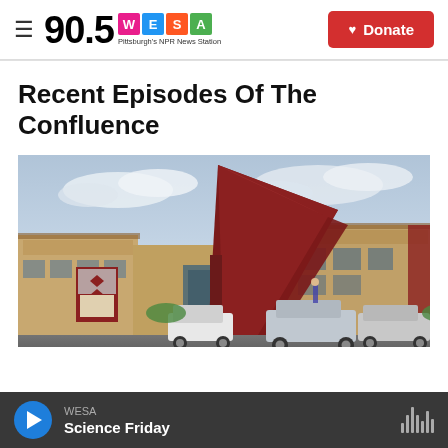90.5 WESA — Pittsburgh's NPR News Station | Donate
Recent Episodes Of The Confluence
[Figure (photo): Street-level photo of a modern high school building with a dramatic angular red canopy/overhang over the entrance, beige brick walls, and cars parked in front. A sign reading 'Senior High School' is visible on the left.]
WESA — Science Friday